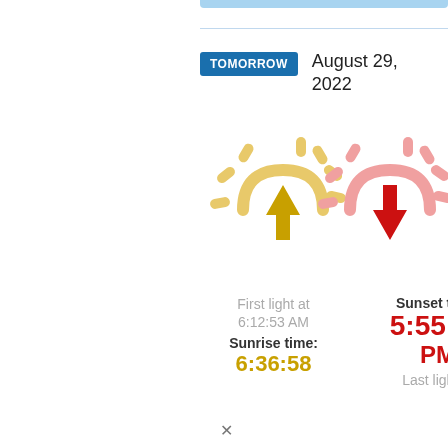TOMORROW   August 29, 2022
[Figure (illustration): Two sun icons: a golden sun with an upward arrow (sunrise) on the left, and a pink/red sun with a downward arrow (sunset) on the right]
First light at 6:12:53 AM
Sunrise time: 6:36:58
Sunset time: 5:55:39 PM
Last light at